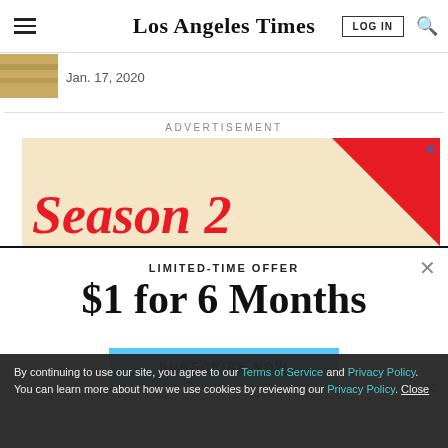Los Angeles Times
Jan. 17, 2020
ADVERTISEMENT
[Figure (photo): Advertisement banner with cream background, red diagonal stripe in top-right corner and red italic text reading 'Season 2' at the bottom left]
LIMITED-TIME OFFER
$1 for 6 Months
SUBSCRIBE NOW
By continuing to use our site, you agree to our Terms of Service and Privacy Policy. You can learn more about how we use cookies by reviewing our Privacy Policy. Close